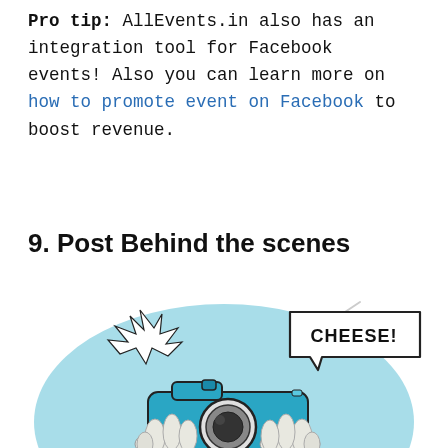Pro tip: AllEvents.in also has an integration tool for Facebook events! Also you can learn more on how to promote event on Facebook to boost revenue.
9. Post Behind the scenes
[Figure (illustration): Illustration of two hands holding a teal/blue camera with a light blue oval background. A speech bubble says 'CHEESE!' and a flash burst is visible on the left side of the camera.]